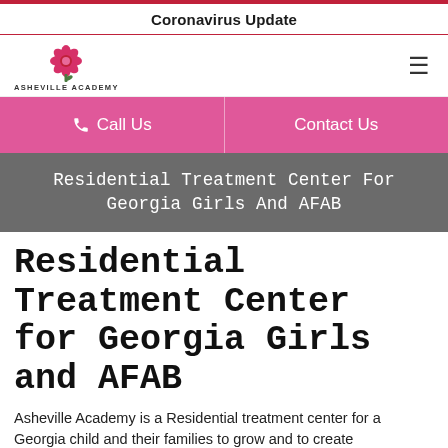Coronavirus Update
[Figure (logo): Asheville Academy logo with pink flower and text ASHEVILLE ACADEMY]
Call Us  Contact Us
Residential Treatment Center For Georgia Girls And AFAB
Residential Treatment Center for Georgia Girls and AFAB
Asheville Academy is a Residential treatment center for a Georgia child and their families to grow and to create